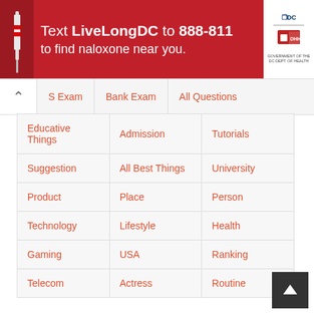[Figure (other): Advertisement banner: red background with white text 'Text LiveLongDC to 888-811 to find naloxone near you.' and logos on the right side.]
| S Exam | Bank Exam | All Questions |
| --- | --- | --- |
| Educative Things | Admission | Tutorials |
| Suggestion | All Best Things | University |
| Product | Place | Person |
| Technology | Lifestyle | Health |
| Gaming | USA | Ranking |
| Telecom | Actress | Routine |
HSC 2019 All Board Question paper download
HSC Question Script 2019 download - [Bengali text]